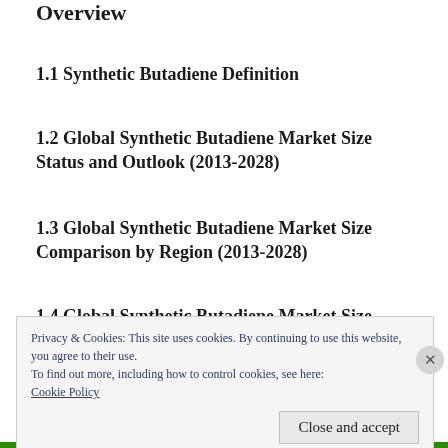Overview
1.1 Synthetic Butadiene Definition
1.2 Global Synthetic Butadiene Market Size Status and Outlook (2013-2028)
1.3 Global Synthetic Butadiene Market Size Comparison by Region (2013-2028)
1.4 Global Synthetic Butadiene Market Size
Privacy & Cookies: This site uses cookies. By continuing to use this website, you agree to their use.
To find out more, including how to control cookies, see here:
Cookie Policy
Close and accept